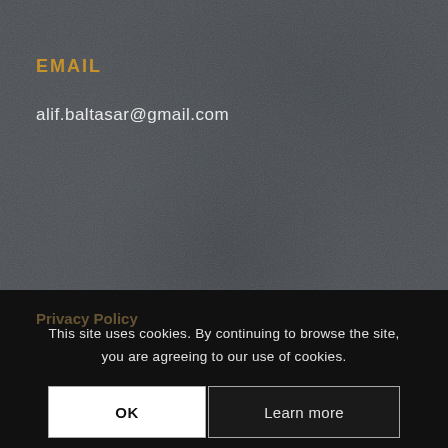EMAIL
alif.baltasar@gmail.com
Privacy Policy
This site uses cookies. By continuing to browse the site, you are agreeing to our use of cookies.
OK
Learn more